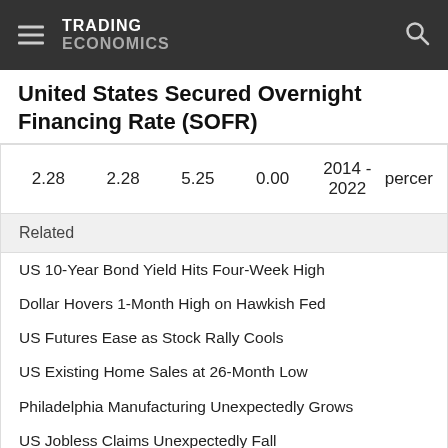TRADING ECONOMICS
United States Secured Overnight Financing Rate (SOFR)
| 2.28 | 2.28 | 5.25 | 0.00 | 2014 - 2022 | percent |
Related
US 10-Year Bond Yield Hits Four-Week High
Dollar Hovers 1-Month High on Hawkish Fed
US Futures Ease as Stock Rally Cools
US Existing Home Sales at 26-Month Low
Philadelphia Manufacturing Unexpectedly Grows
US Jobless Claims Unexpectedly Fall
Wall Street Pares Some Losses
Fed Sticks With Aggressive Monetary Tightening
US Crude Stocks Fall More than Expected: EIA